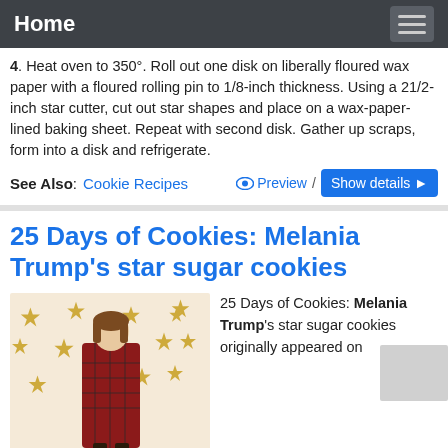Home
4. Heat oven to 350°. Roll out one disk on liberally floured wax paper with a floured rolling pin to 1/8-inch thickness. Using a 21/2-inch star cutter, cut out star shapes and place on a wax-paper-lined baking sheet. Repeat with second disk. Gather up scraps, form into a disk and refrigerate.
See Also: Cookie Recipes   Preview / Show details
25 Days of Cookies: Melania Trump's star sugar cookies
[Figure (photo): Melania Trump standing in front of a cream background with gold star decorations, wearing a red plaid outfit]
25 Days of Cookies: Melania Trump's star sugar cookies originally appeared on
goodmorningamerica.comWelcome to GMA 25 Days of